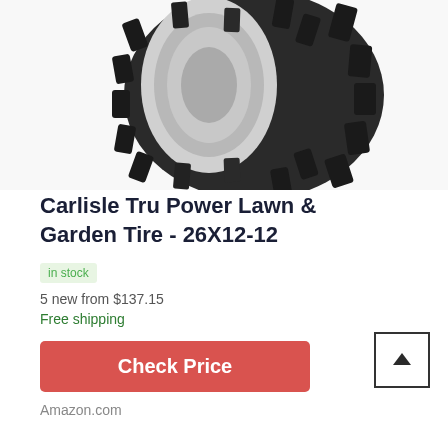[Figure (photo): A Carlisle Tru Power Lawn and Garden tractor tire with aggressive tread pattern mounted on a silver/white rim, photographed against a white background.]
Carlisle Tru Power Lawn & Garden Tire - 26X12-12
in stock
5 new from $137.15
Free shipping
Check Price
Amazon.com